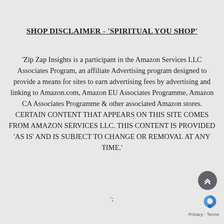SHOP DISCLAIMER - 'SPIRITUAL YOU SHOP'
'Zip Zap Insights is a participant in the Amazon Services LLC Associates Program, an affiliate Advertising program designed to provide a means for sites to earn advertising fees by advertising and linking to Amazon.com, Amazon EU Associates Programme, Amazon CA Associates Programme & other associated Amazon stores. CERTAIN CONTENT THAT APPEARS ON THIS SITE COMES FROM AMAZON SERVICES LLC. THIS CONTENT IS PROVIDED 'AS IS' AND IS SUBJECT TO CHANGE OR REMOVAL AT ANY TIME.'
';